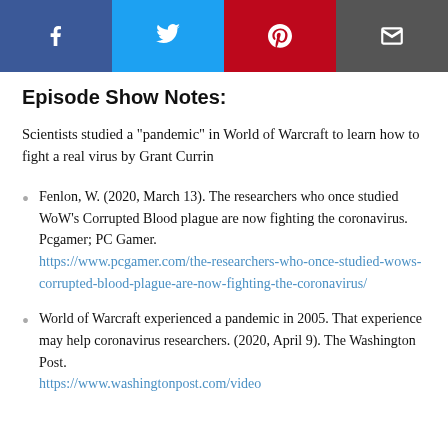[Figure (infographic): Social sharing bar with Facebook, Twitter, Pinterest, and Email icons]
Episode Show Notes:
Scientists studied a "pandemic" in World of Warcraft to learn how to fight a real virus by Grant Currin
Fenlon, W. (2020, March 13). The researchers who once studied WoW's Corrupted Blood plague are now fighting the coronavirus. Pcgamer; PC Gamer. https://www.pcgamer.com/the-researchers-who-once-studied-wows-corrupted-blood-plague-are-now-fighting-the-coronavirus/
World of Warcraft experienced a pandemic in 2005. That experience may help coronavirus researchers. (2020, April 9). The Washington Post. https://www.washingtonpost.com/video